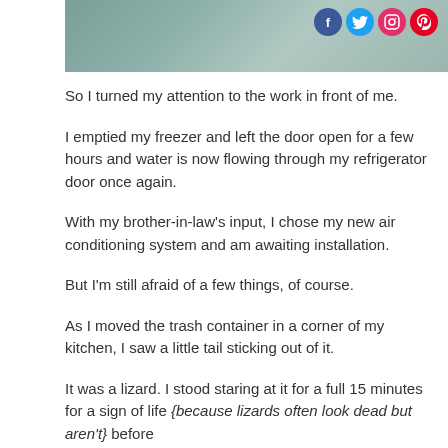[Figure (photo): Partial view of a stone or bronze statue/relief figure, with social media icons (Facebook, Twitter, Instagram, Pinterest) overlaid in the top right corner]
So I turned my attention to the work in front of me.
I emptied my freezer and left the door open for a few hours and water is now flowing through my refrigerator door once again.
With my brother-in-law's input, I chose my new air conditioning system and am awaiting installation.
But I'm still afraid of a few things, of course.
As I moved the trash container in a corner of my kitchen, I saw a little tail sticking out of it.
It was a lizard. I stood staring at it for a full 15 minutes for a sign of life {because lizards often look dead but aren't} before